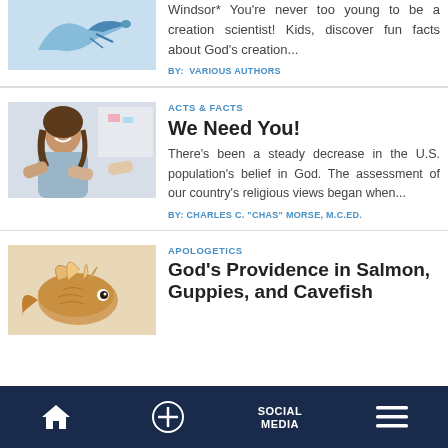[Figure (photo): Partial image of a bird or flying creature on a light blue background]
Windsor* You're never too young to be a creation scientist! Kids, discover fun facts about God's creation...
BY:  VARIOUS AUTHORS
[Figure (photo): Photo of a smiling young woman with people joining hands in a team gesture]
ACTS & FACTS
We Need You!
There's been a steady decrease in the U.S. population's belief in God. The assessment of our country's religious views began when...
BY: CHARLES C. "CHAS" MORSE, M.C.ED.
[Figure (photo): Close-up photo of a colorful fish, possibly a guppy or cavefish]
APOLOGETICS
God's Providence in Salmon, Guppies, and Cavefish
HOME  +  SOCIAL MEDIA  Menu